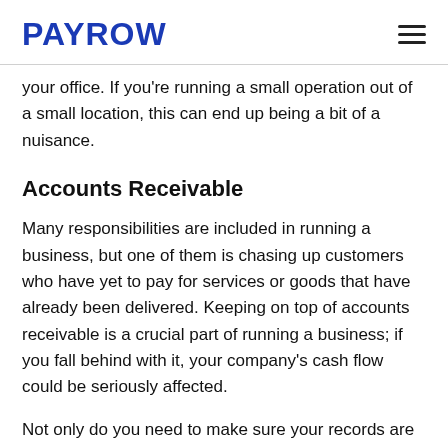PAYROW
your office. If you're running a small operation out of a small location, this can end up being a bit of a nuisance.
Accounts Receivable
Many responsibilities are included in running a business, but one of them is chasing up customers who have yet to pay for services or goods that have already been delivered. Keeping on top of accounts receivable is a crucial part of running a business; if you fall behind with it, your company's cash flow could be seriously affected.
Not only do you need to make sure your records are